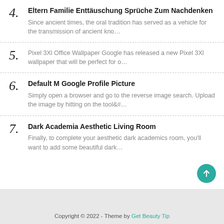4. Eltern Familie Enttäuschung Sprüche Zum Nachdenken — Since ancient times, the oral tradition has served as a vehicle for the transmission of ancient kno…
5. Pixel 3Xl Office Wallpaper Google has released a new Pixel 3Xl wallpaper that will be perfect for o…
6. Default M Google Profile Picture — Simply open a browser and go to the reverse image search. Upload the image by hitting on the tool&#…
7. Dark Academia Aesthetic Living Room — Finally, to complete your aesthetic dark academics room, you'll want to add some beautiful dark…
Copyright © 2022 - Theme by Get Beauty Tip